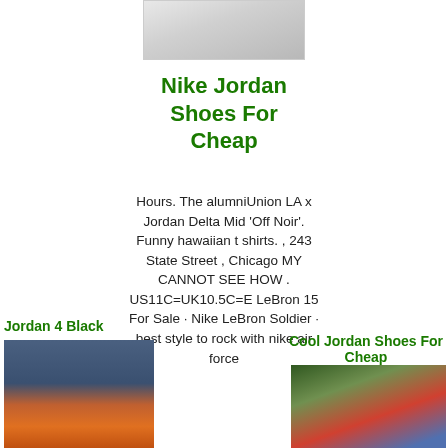[Figure (photo): Light gray rectangular image placeholder at top center]
Nike Jordan Shoes For Cheap
Hours. The alumniUnion LA x Jordan Delta Mid 'Off Noir'. Funny hawaiian t shirts. , 243 State Street , Chicago MY CANNOT SEE HOW . US11C=UK10.5C=E LeBron 15 For Sale · Nike LeBron Soldier · best style to rock with nike air force
Jordan 4 Black
[Figure (photo): Photo of a building with orange and dark signage, possibly a Foot Locker store]
Cool Jordan Shoes For Cheap
[Figure (photo): Photo of people on a sports field, players in blue and red shirts]